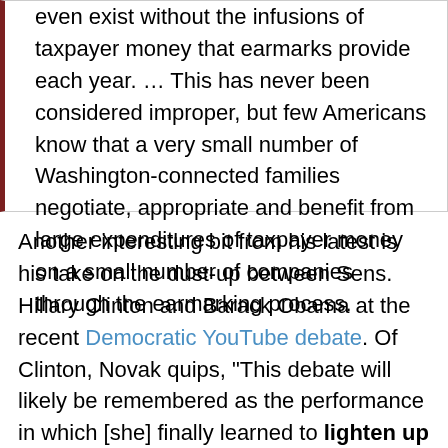even exist without the infusions of taxpayer money that earmarks provide each year. … This has never been considered improper, but few Americans know that a very small number of Washington-connected families negotiate, appropriate and benefit from large expenditures of taxpayer money on a small number of companies through the earmarking process.
Another interesting bit from his latest is his take on the dust-up between Sens. Hillary Clinton and Barack Obama at the recent Democratic YouTube debate. Of Clinton, Novak quips, "This debate will likely be remembered as the performance in which [she] finally learned to lighten up and act a bit human [emphasis his], eschewing the debilitating and robotic persona she normally affects in public speaking situations." Not sure exactly what Novak means by "act a bit human"; is this what he had in mind?